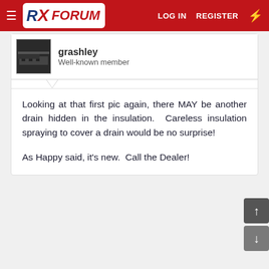RX FORUM — LOG IN | REGISTER
grashley
Well-known member
Looking at that first pic again, there MAY be another drain hidden in the insulation.  Careless insulation spraying to cover a drain would be no surprise!

As Happy said, it's new.  Call the Dealer!